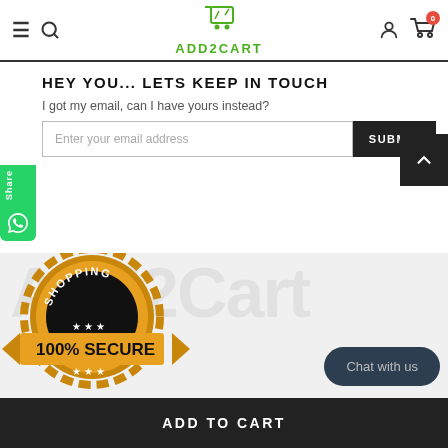ADD2CART - Navigation header with hamburger, search, logo, user and cart icons
HEY YOU... LETS KEEP IN TOUCH
I got my email, can I have yours instead?
Enter your email address | SUBMIT button
[Figure (logo): Shopping 100% Secure badge - gold medallion with black banner]
Chat with us
ADD TO CART